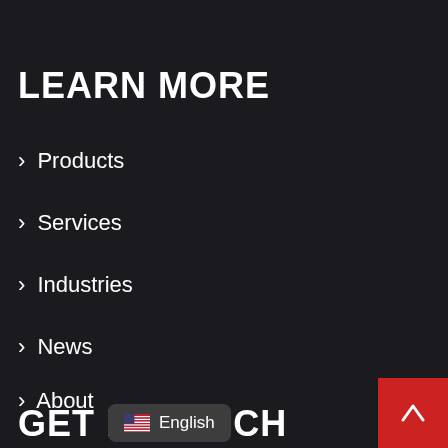LEARN MORE
> Products
> Services
> Industries
> News
> About
GET IN TOUCH
English